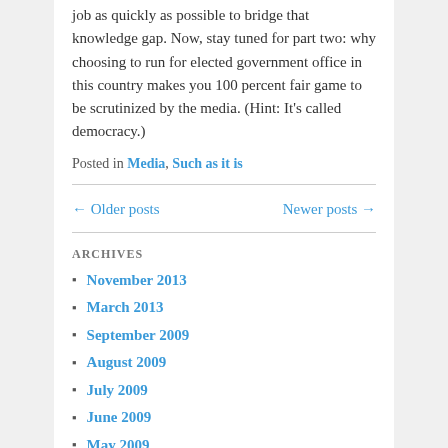job as quickly as possible to bridge that knowledge gap. Now, stay tuned for part two: why choosing to run for elected government office in this country makes you 100 percent fair game to be scrutinized by the media. (Hint: It's called democracy.)
Posted in Media, Such as it is
← Older posts    Newer posts →
ARCHIVES
November 2013
March 2013
September 2009
August 2009
July 2009
June 2009
May 2009
April 2009